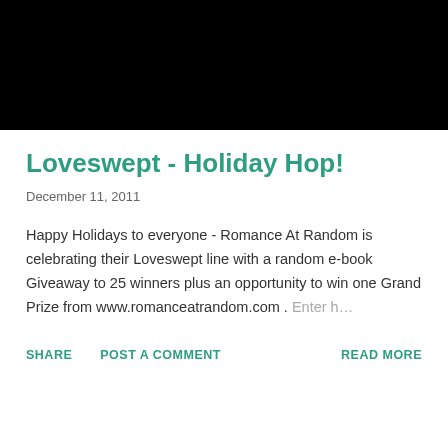[Figure (photo): Black rectangle image at top of blog post]
Loveswept - Holiday Hop!
December 11, 2011
Happy Holidays to everyone - Romance At Random is celebrating their Loveswept line with a random e-book Giveaway to 25 winners plus an opportunity to win one Grand Prize from www.romanceatrandom.com . Enter h…
SHARE   POST A COMMENT   READ MORE